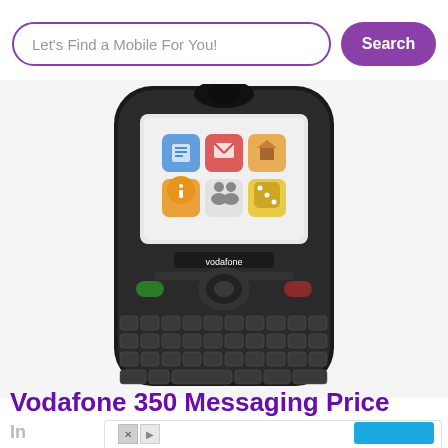Let's Find a Mobile For You! Search
[Figure (photo): Vodafone 350 Messaging phone with full QWERTY keyboard, black color, showing app icons on screen]
Vodafone 350 Messaging Price
In
[Figure (infographic): Advertisement overlay with blue button, X and play icons, and partial text]